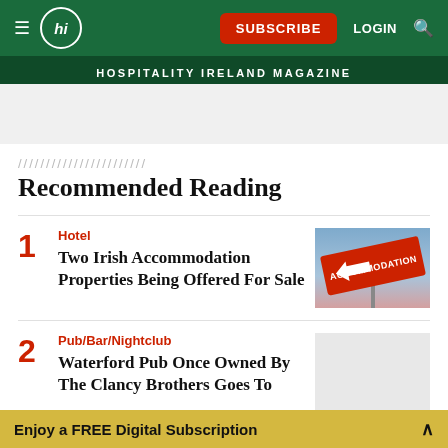hi SUBSCRIBE LOGIN [search] HOSPITALITY IRELAND MAGAZINE
Recommended Reading
1 Hotel — Two Irish Accommodation Properties Being Offered For Sale
2 Pub/Bar/Nightclub — Waterford Pub Once Owned By The Clancy Brothers Goes To
Enjoy a FREE Digital Subscription